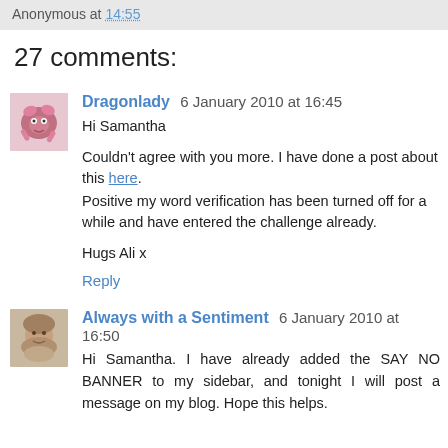Anonymous at 14:55
27 comments:
Dragonlady 6 January 2010 at 16:45
Hi Samantha

Couldn't agree with you more. I have done a post about this here.
Positive my word verification has been turned off for a while and have entered the challenge already.

Hugs Ali x

Reply
Always with a Sentiment 6 January 2010 at 16:50
Hi Samantha. I have already added the SAY NO BANNER to my sidebar, and tonight I will post a message on my blog. Hope this helps.